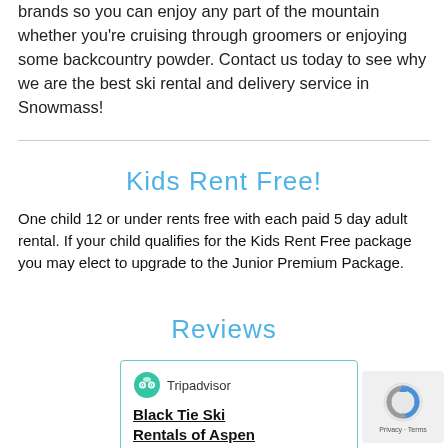brands so you can enjoy any part of the mountain whether you're cruising through groomers or enjoying some backcountry powder. Contact us today to see why we are the best ski rental and delivery service in Snowmass!
Kids Rent Free!
One child 12 or under rents free with each paid 5 day adult rental. If your child qualifies for the Kids Rent Free package you may elect to upgrade to the Junior Premium Package.
Reviews
[Figure (screenshot): Tripadvisor widget showing Black Tie Ski Rentals of Aspen listing]
[Figure (other): reCAPTCHA privacy widget with circular arrow logo and Privacy - Terms text]